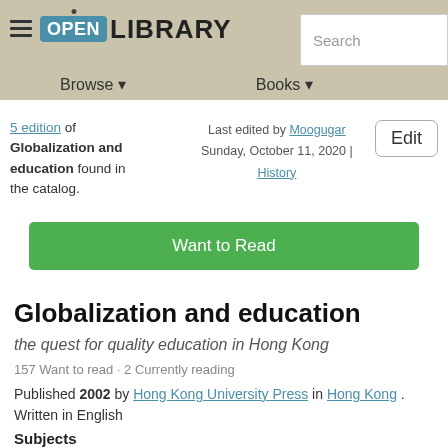Open Library | Browse | Books | Search
5 edition of Globalization and education found in the catalog. Last edited by Moogugar Sunday, October 11, 2020 | History
Want to Read
Globalization and education
the quest for quality education in Hong Kong
157 Want to read · 2 Currently reading
Published 2002 by Hong Kong University Press in Hong Kong . Written in English